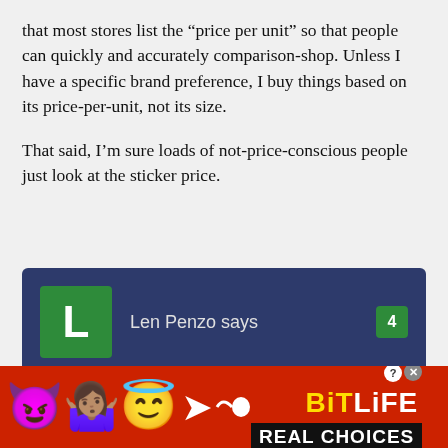that most stores list the “price per unit” so that people can quickly and accurately comparison-shop. Unless I have a specific brand preference, I buy things based on its price-per-unit, not its size.
That said, I’m sure loads of not-price-conscious people just look at the sticker price.
[Figure (screenshot): Comment box with dark blue background. Shows avatar with green square containing white letter L, commenter name 'Len Penzo says', count badge '4', and comment text: 'Yes; I’m positive loads of NPC folks just look at the sticker price.']
[Figure (photo): Advertisement banner for BitLife game with red background, emoji characters (devil, person, angel, sperm), BitLife logo in yellow/white, and 'REAL CHOICES' text in black bar.]